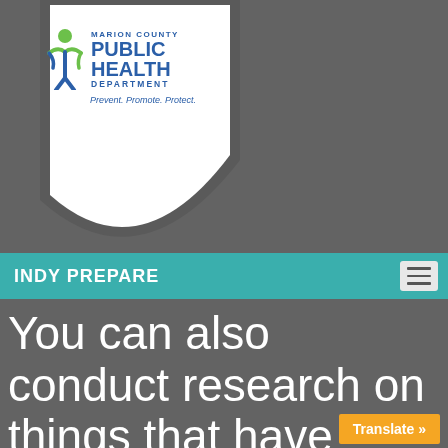[Figure (logo): Marion County Public Health Department shield logo with figure icon and tagline 'Prevent. Promote. Protect.']
INDY PREPARE
You can also conduct research on things that have gone viral
Translate »